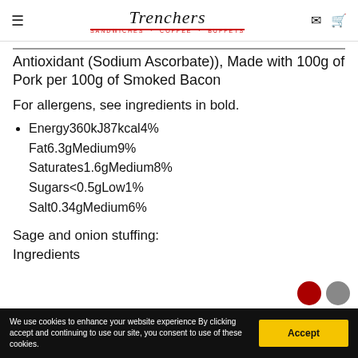Trenchers — Sandwiches · Coffee · Buffets
Antioxidant (Sodium Ascorbate)), Made with 100g of Pork per 100g of Smoked Bacon
For allergens, see ingredients in bold.
Energy360kJ87kcal4%
Fat6.3gMedium9%
Saturates1.6gMedium8%
Sugars<0.5gLow1%
Salt0.34gMedium6%
Sage and onion stuffing:
Ingredients
We use cookies to enhance your website experience By clicking accept and continuing to use our site, you consent to use of these cookies.